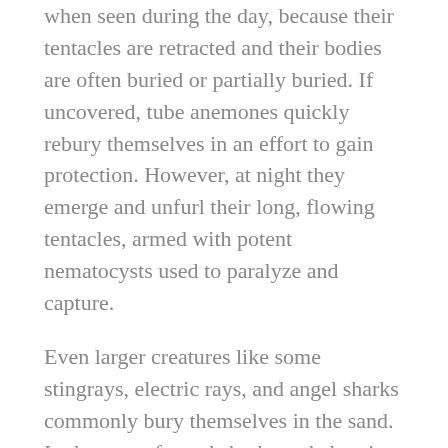when seen during the day, because their tentacles are retracted and their bodies are often buried or partially buried. If uncovered, tube anemones quickly rebury themselves in an effort to gain protection. However, at night they emerge and unfurl their long, flowing tentacles, armed with potent nematocysts used to paralyze and capture.
Even larger creatures like some stingrays, electric rays, and angel sharks commonly bury themselves in the sand. In the case of angel sharks and electric rays, these lie-in-wait predators bury themselves to avoid being detected by potential prey. Those stingrays that bury themselves are believed to do so to go undetected and simply be left alone. When feeding, these rays actively grub around on the bottom in plain view. In contrast, electric rays sometimes appear to “jump” out of